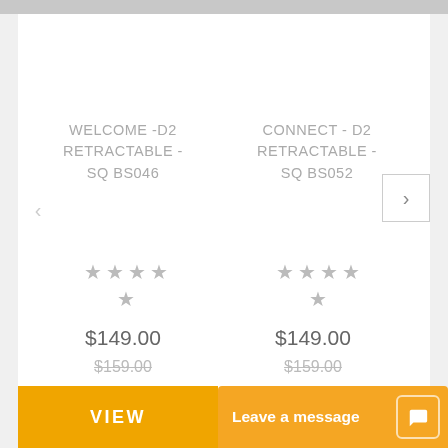WELCOME -D2 RETRACTABLE - SQ BS046
CONNECT - D2 RETRACTABLE - SQ BS052
$149.00
$159.00
$149.00
$159.00
VIEW
Leave a message